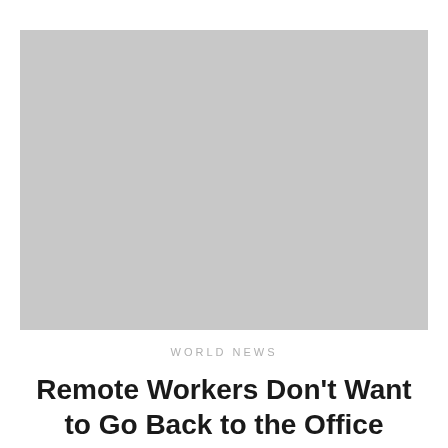[Figure (photo): Large placeholder image with light gray background fill, no visible content]
WORLD NEWS
Remote Workers Don't Want to Go Back to the Office